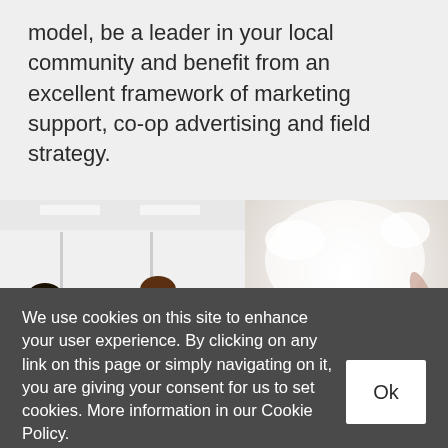model, be a leader in your local community and benefit from an excellent framework of marketing support, co-op advertising and field strategy.
[Figure (photo): Two side-by-side photos: left shows a group of women at a conference or event, smiling and looking at something; right shows a blurred bright scene with people raising hands or dancing.]
We use cookies on this site to enhance your user experience. By clicking on any link on this page or simply navigating on it, you are giving your consent for us to set cookies. More information in our Cookie Policy.